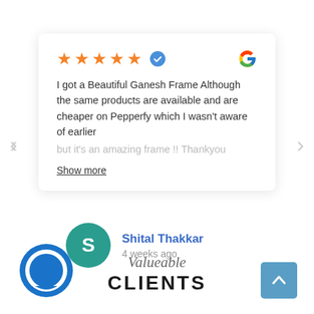[Figure (screenshot): Google review card with 5 orange stars, a blue verified badge, and a Google logo (G) in top right. Review text: 'I got a Beautiful Ganesh Frame Although the same products are available and are cheaper on Pepperfy which I wasn't aware of earlier but it's an amazing frame !! Thankyou'. Show more link below. Navigation arrows on sides.]
Show more
Shital Thakkar
4 weeks ago
Valueable
CLIENTS